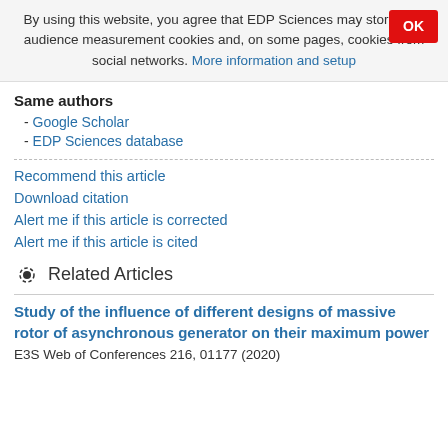By using this website, you agree that EDP Sciences may store web audience measurement cookies and, on some pages, cookies from social networks. More information and setup
Same authors
- Google Scholar
- EDP Sciences database
Recommend this article
Download citation
Alert me if this article is corrected
Alert me if this article is cited
Related Articles
Study of the influence of different designs of massive rotor of asynchronous generator on their maximum power
E3S Web of Conferences 216, 01177 (2020)